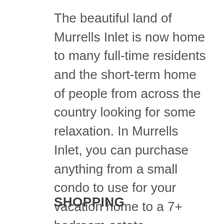The beautiful land of Murrells Inlet is now home to many full-time residents and the short-term home of people from across the country looking for some relaxation. In Murrells Inlet, you can purchase anything from a small condo to use for your vacation home to a 7+ bedroom estate. Properties here can have views of the water, both inlet and river, or views of golf courses and often are dotted with Spanish moss covered oak trees that are hundreds of years old.
SHOPPING